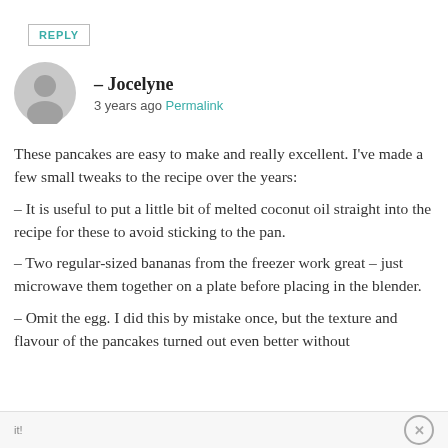REPLY
– Jocelyne
3 years ago Permalink
These pancakes are easy to make and really excellent. I've made a few small tweaks to the recipe over the years:
– It is useful to put a little bit of melted coconut oil straight into the recipe for these to avoid sticking to the pan.
– Two regular-sized bananas from the freezer work great – just microwave them together on a plate before placing in the blender.
– Omit the egg. I did this by mistake once, but the texture and flavour of the pancakes turned out even better without it!
it!